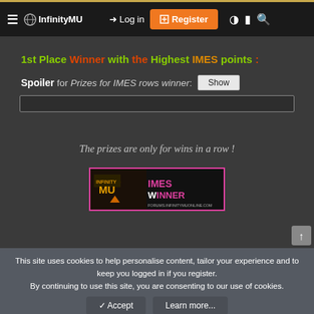≡  InfinityMU  →] Log in  [+] Register
1st Place Winner with the Highest IMES points :
Spoiler for Prizes for IMES rows winner:  [Show]
The prizes are only for wins in a row !
[Figure (logo): INFINITY MU - IMES Winner badge banner with text FORUMS.INFINITYMUONLINE.COM, pink border]
This site uses cookies to help personalise content, tailor your experience and to keep you logged in if you register. By continuing to use this site, you are consenting to our use of cookies.
✓ Accept   Learn more...